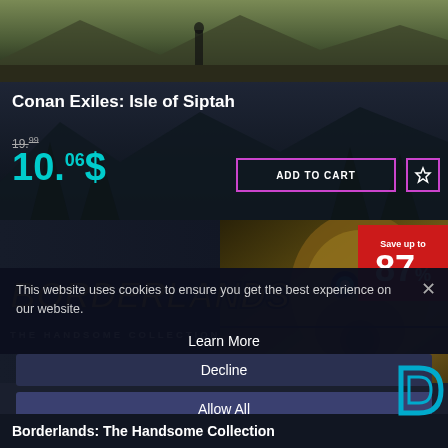[Figure (screenshot): Top portion of Conan Exiles game image showing a character walking in a desert/wasteland landscape]
Conan Exiles: Isle of Siptah
19.99 (strikethrough original price)
10.06$
ADD TO CART
[Figure (screenshot): Borderlands: The Handsome Collection promotional banner showing the golden robot character and game logo. Save up to 87% badge in red.]
Save up to 87%
This website uses cookies to ensure you get the best experience on our website.
Learn More
Decline
Allow All
Borderlands: The Handsome Collection